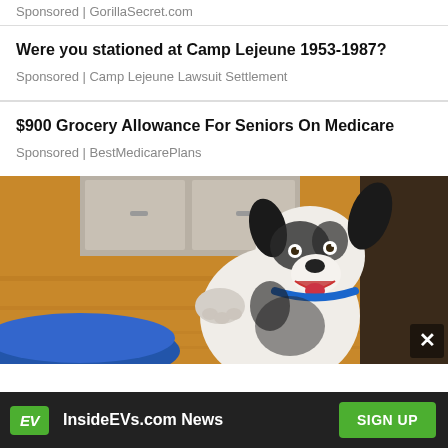Sponsored | GorillaSecret.com
Were you stationed at Camp Lejeune 1953-1987?
Sponsored | Camp Lejeune Lawsuit Settlement
$900 Grocery Allowance For Seniors On Medicare
Sponsored | BestMedicarePlans
[Figure (photo): A happy black and white dog with a blue collar appears to be sitting up with one paw raised, smiling/panting, photographed from above on a wooden floor background with kitchen cabinetry visible]
EV  InsideEVs.com News  SIGN UP